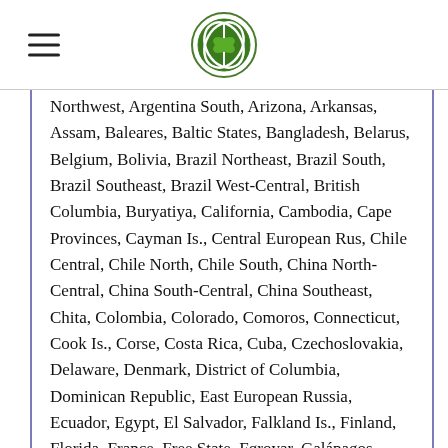[Logo and navigation header]
Northwest, Argentina South, Arizona, Arkansas, Assam, Baleares, Baltic States, Bangladesh, Belarus, Belgium, Bolivia, Brazil Northeast, Brazil South, Brazil Southeast, Brazil West-Central, British Columbia, Buryatiya, California, Cambodia, Cape Provinces, Cayman Is., Central European Rus, Chile Central, Chile North, Chile South, China North-Central, China South-Central, China Southeast, Chita, Colombia, Colorado, Comoros, Connecticut, Cook Is., Corse, Costa Rica, Cuba, Czechoslovakia, Delaware, Denmark, District of Columbia, Dominican Republic, East European Russia, Ecuador, Egypt, El Salvador, Falkland Is., Finland, Florida, France, Free State, Føroyar, Galápagos, Georgia, Germany, Gilbert Is., Great Britain, Guatemala, Haiti, Hawaii, Honduras, Hungary, Idaho, Illinois, India, Indiana, Iowa, Ireland, Irkutsk, Juan Fernández Is., Kamchatka, Kansas, Kazakhstan, Kentucky, Kenya, Khabarovsk, Kirgizstan, Korea, Krasnovarsk, Krym, Kuril Is., Kuwait, Labrador